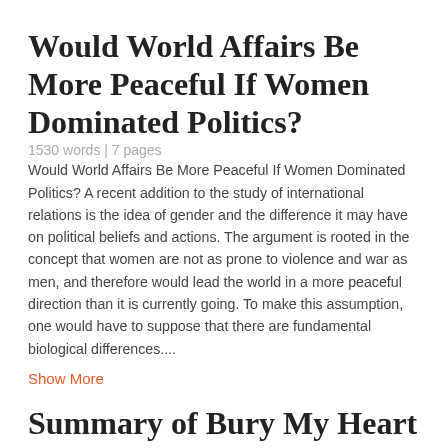Would World Affairs Be More Peaceful If Women Dominated Politics?
1530 words | 7 pages
Would World Affairs Be More Peaceful If Women Dominated Politics? A recent addition to the study of international relations is the idea of gender and the difference it may have on political beliefs and actions. The argument is rooted in the concept that women are not as prone to violence and war as men, and therefore would lead the world in a more peaceful direction than it is currently going. To make this assumption, one would have to suppose that there are fundamental biological differences....
Show More
Summary of Bury My Heart and Wounded Knee